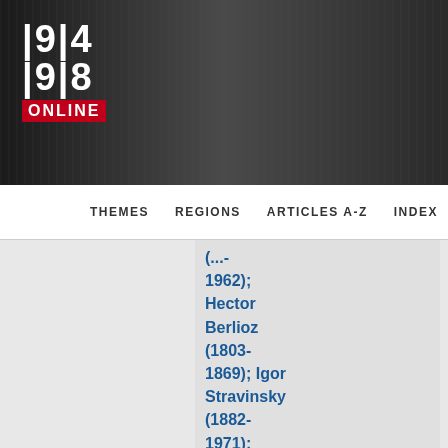[Figure (logo): 1914-1918 Online logo with red ONLINE banner]
THEMES   REGIONS   ARTICLES A-Z   INDEX
(…-1962); Hector Berlioz (1803-1869); Igor Stravinsky (1882-1971); Jacques Ibert (1890-1962); James Reese Europe (1881-1919); Jean Sibelius